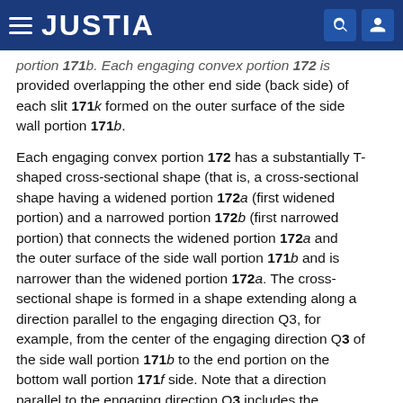JUSTIA
portion 171b. Each engaging convex portion 172 is provided overlapping the other end side (back side) of each slit 171k formed on the outer surface of the side wall portion 171b.
Each engaging convex portion 172 has a substantially T-shaped cross-sectional shape (that is, a cross-sectional shape having a widened portion 172a (first widened portion) and a narrowed portion 172b (first narrowed portion) that connects the widened portion 172a and the outer surface of the side wall portion 171b and is narrower than the widened portion 172a. The cross-sectional shape is formed in a shape extending along a direction parallel to the engaging direction Q3, for example, from the center of the engaging direction Q3 of the side wall portion 171b to the end portion on the bottom wall portion 171f side. Note that a direction parallel to the engaging direction Q3 includes the